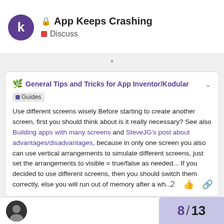App Keeps Crashing · Discuss
[Figure (screenshot): Quoted post card: General Tips and Tricks for App Inventor/Kodular (Guides). Body text: Use different screens wisely Before starting to create another screen, first you should think about is it really necessary? See also Building apps with many screens and SteveJG's post about advantages/disadvantages, because in only one screen you also can use vertical arrangements to simulate different screens, just set the arrangements to visible = true/false as needed... If you decided to use different screens, then you should switch them correctly, else you will run out of memory after a wh...]
Use different screens wisely Before starting to create another screen, first you should think about is it really necessary? See also Building apps with many screens and SteveJG's post about advantages/disadvantages, because in only one screen you also can use vertical arrangements to simulate different screens, just set the arrangements to visible = true/false as needed... If you decided to use different screens, then you should switch them correctly, else you will run out of memory after a wh...
8 / 13